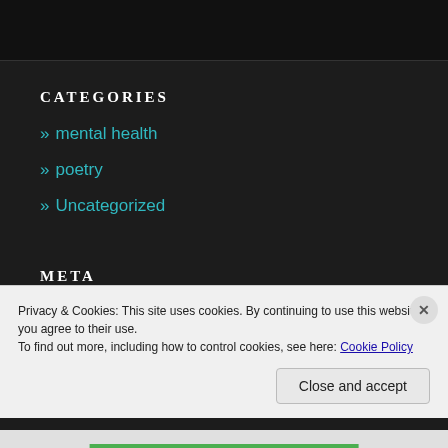CATEGORIES
» mental health
» poetry
» Uncategorized
META
Register
Privacy & Cookies: This site uses cookies. By continuing to use this website, you agree to their use.
To find out more, including how to control cookies, see here: Cookie Policy
Close and accept